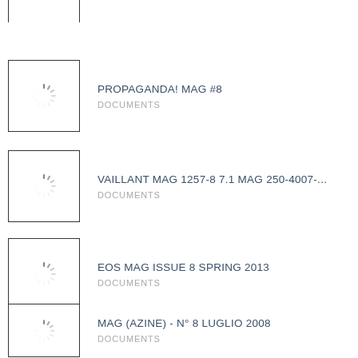(truncated top item — thumbnail only visible)
PROPAGANDA! MAG #8 — DOCUMENTS
VAILLANT MAG 1257-8 7.1 MAG 250-4007-... — DOCUMENTS
EOS MAG ISSUE 8 SPRING 2013 — DOCUMENTS
MAG (AZINE) - N° 8 LUGLIO 2008 — DOCUMENTS
VTV MAG #17 — DOCUMENTS